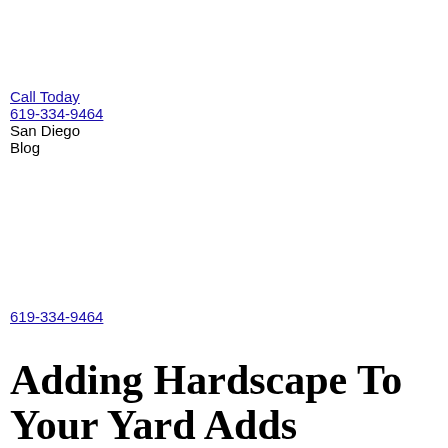Call Today
619-334-9464
San Diego
Blog
619-334-9464
Adding Hardscape To Your Yard Adds Aesthetics, Subtracts Maintenance